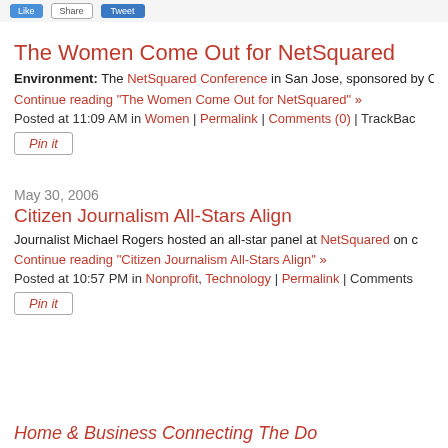[Figure (screenshot): Top bar with social sharing buttons (blue button, outline button, blue tweet button)]
The Women Come Out for NetSquared
Environment: The NetSquared Conference in San Jose, sponsored by C
Continue reading "The Women Come Out for NetSquared" »
Posted at 11:09 AM in Women | Permalink | Comments (0) | TrackBac
[Figure (other): Pin it button]
May 30, 2006
Citizen Journalism All-Stars Align
Journalist Michael Rogers hosted an all-star panel at NetSquared on c
Continue reading "Citizen Journalism All-Stars Align" »
Posted at 10:57 PM in Nonprofit, Technology | Permalink | Comments
[Figure (other): Pin it button]
partial title visible at bottom